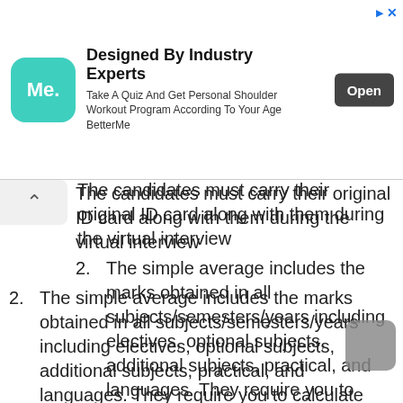[Figure (other): Advertisement banner for BetterMe app. Teal square icon with 'Me.' text. Headline: 'Designed By Industry Experts'. Body: 'Take A Quiz And Get Personal Shoulder Workout Program According To Your Age BetterMe'. Open button on right.]
The candidates must carry their original ID card along with them during the virtual interview
2. The simple average includes the marks obtained in all subjects/semesters/years including electives, optional subjects, additional subjects, practical, and languages. They require you to calculate simple average marks as per the instructions below:
3. To get a Simple Average aggregate percentage for Class 10, Class 12, Graduation, and Post-graduation, including all languages electives, additional subjects, practical and optional subjects. (Refer to